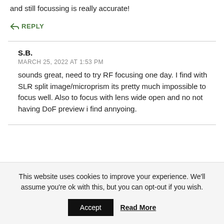and still focussing is really accurate!
↪ REPLY
S.B.
MARCH 25, 2022 AT 1:53 PM
sounds great, need to try RF focusing one day. I find with SLR split image/microprism its pretty much impossible to focus well. Also to focus with lens wide open and no not having DoF preview i find annyoing.
This website uses cookies to improve your experience. We'll assume you're ok with this, but you can opt-out if you wish.